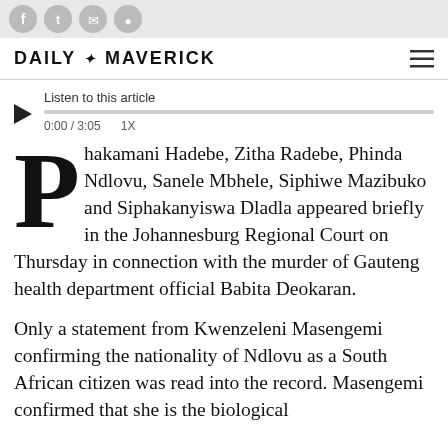DAILY MAVERICK
[Figure (other): Audio player with play button, progress bar, time 0:00 / 3:05, speed 1X, and label 'Listen to this article']
Phakamani Hadebe, Zitha Radebe, Phinda Ndlovu, Sanele Mbhele, Siphiwe Mazibuko and Siphakanyiswa Dladla appeared briefly in the Johannesburg Regional Court on Thursday in connection with the murder of Gauteng health department official Babita Deokaran.
Only a statement from Kwenzeleni Masengemi confirming the nationality of Ndlovu as a South African citizen was read into the record. Masengemi confirmed that she is the biological